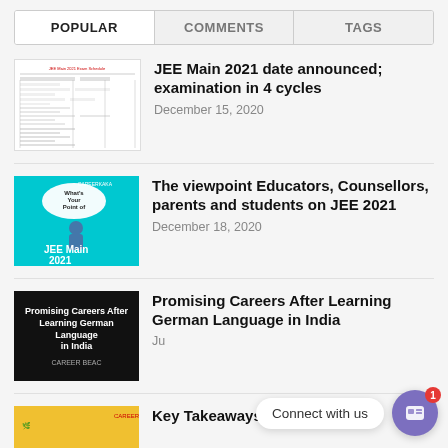POPULAR | COMMENTS | TAGS
[Figure (screenshot): Document page showing JEE Main 2021 exam schedule table]
JEE Main 2021 date announced; examination in 4 cycles
December 15, 2020
[Figure (illustration): Teal background with speech bubble and person silhouette, JEE Main 2021 text]
The viewpoint Educators, Counsellors, parents and students on JEE 2021
December 18, 2020
[Figure (illustration): Dark background with text: Promising Careers After Learning German Language in India, CAREER BEAC logo]
Promising Careers After Learning German Language in India
Ju
[Figure (illustration): Yellow/gold background with CAREERKAKA branding]
Key Takeaways from 2020
Connect with us